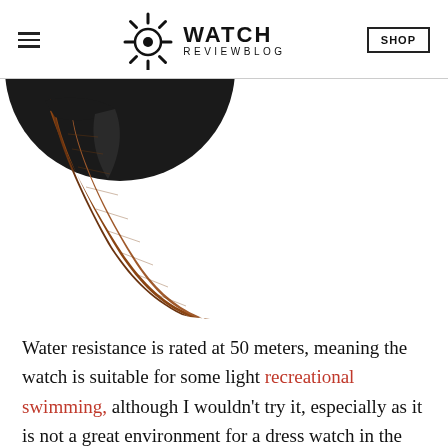WATCH REVIEWBLOG
[Figure (photo): Close-up photo of a watch with a black case and brown leather strap, showing the lug area and strap detail against a white background.]
Water resistance is rated at 50 meters, meaning the watch is suitable for some light recreational swimming, although I wouldn't try it, especially as it is not a great environment for a dress watch in the